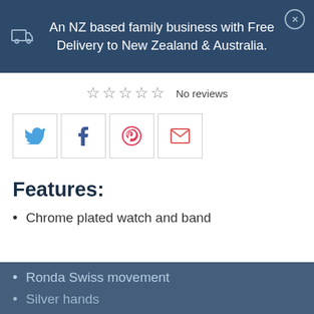An NZ based family business with Free Delivery to New Zealand & Australia.
★★★★★ No reviews
[Figure (other): Social share buttons: Twitter, Facebook, Pinterest, Email]
Features:
Chrome plated watch and band
Ronda Swiss movement
Silver hands